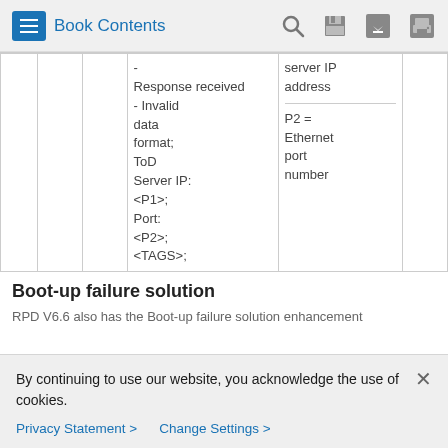Book Contents
|  |  |  | - Response received - Invalid data format; ToD Server IP: <P1>; Port: <P2>; <TAGS>; | server IP address |  |
|  |  |  |  | P2 = Ethernet port number |  |
Boot-up failure solution
RPD V6.6 also has the Boot-up failure solution enhancement
By continuing to use our website, you acknowledge the use of cookies.
Privacy Statement >   Change Settings >